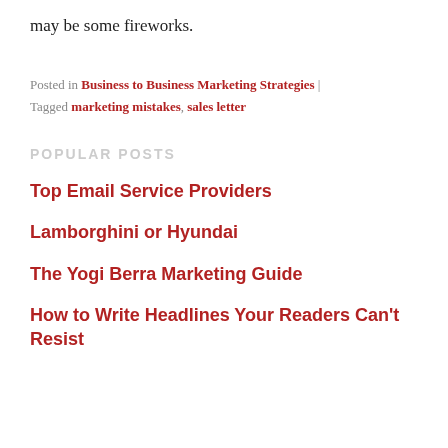may be some fireworks.
Posted in Business to Business Marketing Strategies | Tagged marketing mistakes, sales letter
POPULAR POSTS
Top Email Service Providers
Lamborghini or Hyundai
The Yogi Berra Marketing Guide
How to Write Headlines Your Readers Can't Resist